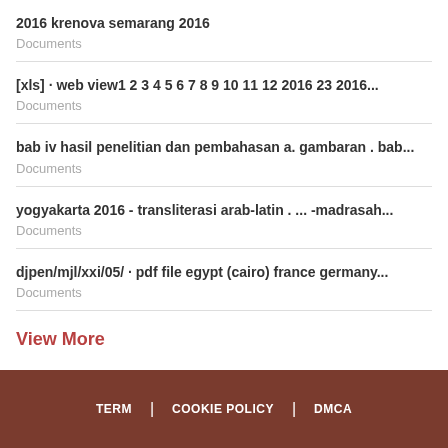2016 krenova semarang 2016
Documents
[xls] · web view1 2 3 4 5 6 7 8 9 10 11 12 2016 23 2016...
Documents
bab iv hasil penelitian dan pembahasan a. gambaran . bab...
Documents
yogyakarta 2016 - transliterasi arab-latin . ... -madrasah...
Documents
djpen/mjl/xxi/05/ · pdf file egypt (cairo) france germany...
Documents
View More
TERM | COOKIE POLICY | DMCA